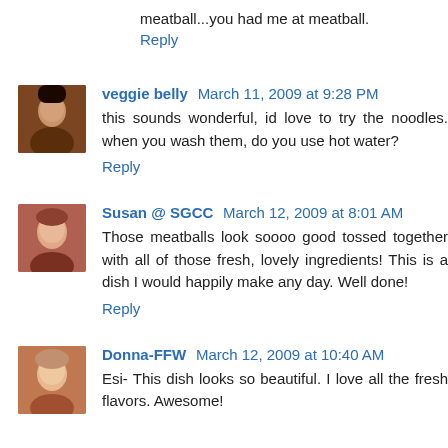meatball...you had me at meatball.
Reply
veggie belly   March 11, 2009 at 9:28 PM
this sounds wonderful, id love to try the noodles. when you wash them, do you use hot water?
Reply
Susan @ SGCC   March 12, 2009 at 8:01 AM
Those meatballs look soooo good tossed together with all of those fresh, lovely ingredients! This is a dish I would happily make any day. Well done!
Reply
Donna-FFW   March 12, 2009 at 10:40 AM
Esi- This dish looks so beautiful. I love all the fresh flavors. Awesome!